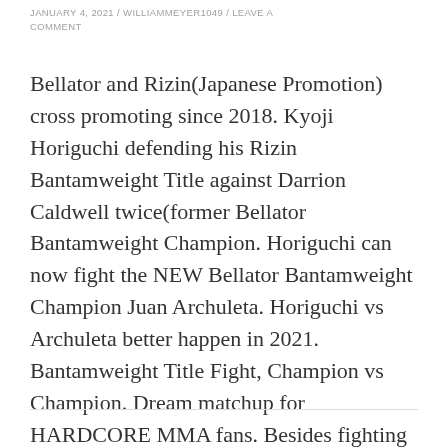JANUARY 4, 2021 / WILLIAMMEYER1049 / LEAVE A COMMENT
Bellator and Rizin(Japanese Promotion) cross promoting since 2018. Kyoji Horiguchi defending his Rizin Bantamweight Title against Darrion Caldwell twice(former Bellator Bantamweight Champion. Horiguchi can now fight the NEW Bellator Bantamweight Champion Juan Archuleta. Horiguchi vs Archuleta better happen in 2021. Bantamweight Title Fight, Champion vs Champion. Dream matchup for HARDCORE MMA fans. Besides fighting Demetrious … Continue reading